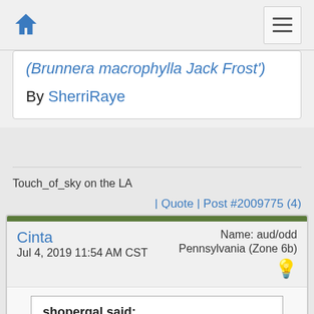Home navigation and menu
(Brunnera macrophylla Jack Frost')
By SherriRaye
Touch_of_sky on the LA
| Quote | Post #2009775 (4)
Cinta
Jul 4, 2019 11:54 AM CST
Name: aud/odd
Pennsylvania (Zone 6b)
shopergal said:
I am looking for suggestions for good